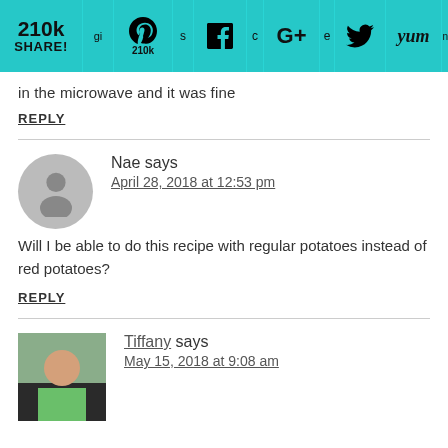[Figure (screenshot): Social share bar with 210k share count and icons for Pinterest, Facebook, Google+, Twitter, Yummly, and another platform on a teal/cyan background]
in the microwave and it was fine
REPLY
[Figure (photo): Generic user avatar (grey silhouette)]
Nae says
April 28, 2018 at 12:53 pm
Will I be able to do this recipe with regular potatoes instead of red potatoes?
REPLY
[Figure (photo): Profile photo of Tiffany]
Tiffany says
May 15, 2018 at 9:08 am